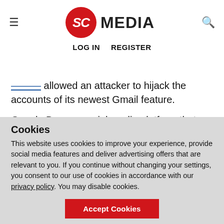SC MEDIA — LOG IN  REGISTER
allowed an attacker to hijack the accounts of its newest Gmail feature.
Google Buzz, a social media platform that allows users to share updates, photos and videos with friends, was pushed out to all Gmail users last week. The "Google Buzz for mobile" website suffered from a common web programming
Cookies
This website uses cookies to improve your experience, provide social media features and deliver advertising offers that are relevant to you. If you continue without changing your settings, you consent to our use of cookies in accordance with our privacy policy. You may disable cookies.
Accept Cookies